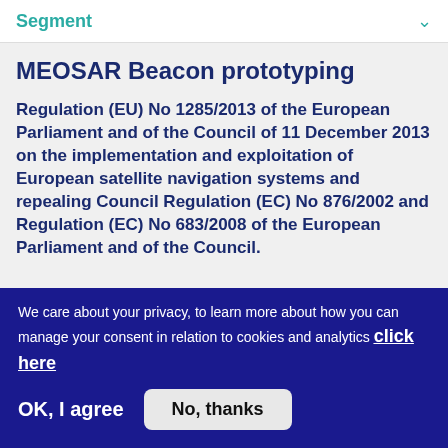Segment
MEOSAR Beacon prototyping
Regulation (EU) No 1285/2013 of the European Parliament and of the Council of 11 December 2013 on the implementation and exploitation of European satellite navigation systems and repealing Council Regulation (EC) No 876/2002 and Regulation (EC) No 683/2008 of the European Parliament and of the Council.
We care about your privacy, to learn more about how you can manage your consent in relation to cookies and analytics click here
OK, I agree
No, thanks